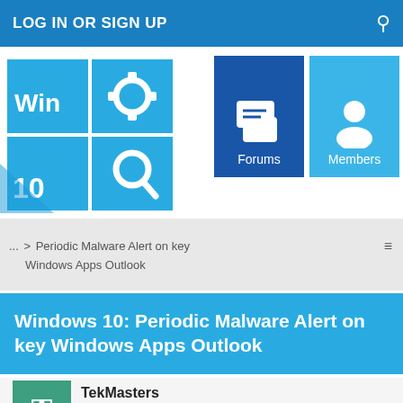LOG IN OR SIGN UP
[Figure (logo): Windows 10 logo with gear and search icon tiles in light blue]
[Figure (infographic): Forums tile (dark blue) with chat bubble icon and label 'Forums']
[Figure (infographic): Members tile (light blue) with person icon and label 'Members']
... > Periodic Malware Alert on key Windows Apps Outlook
Windows 10: Periodic Malware Alert on key Windows Apps Outlook
TekMasters
Win User